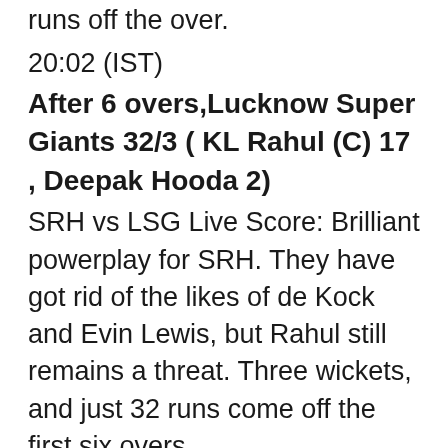runs off the over.
20:02 (IST)
After 6 overs,Lucknow Super Giants 32/3 ( KL Rahul (C) 17 , Deepak Hooda 2)
SRH vs LSG Live Score: Brilliant powerplay for SRH. They have got rid of the likes of de Kock and Evin Lewis, but Rahul still remains a threat. Three wickets, and just 32 runs come off the first six overs.
19:58 (IST)
After 5 overs,Lucknow Super Giants 27/3 ( KL Rahul (C) 14 , Deepak Hooda 0)
SRH vs LSG Live Score: Romario Shepherd is introduced and strikes right in his first over. Manish Pandey is caught by Bhuvneshwar at mid-on, and LSG has their third wicket. Nothing